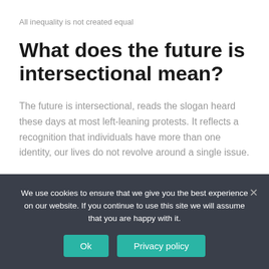All inequality is not created equal
What does the future is intersectional mean?
The future is intersectional, reads the slogan heard these days at most left-leaning protests. It reflects a recognition that individuals have more than one identity, our lives do not revolve around a single issue.
What can you say about feminism?
We use cookies to ensure that we give you the best experience on our website. If you continue to use this site we will assume that you are happy with it.